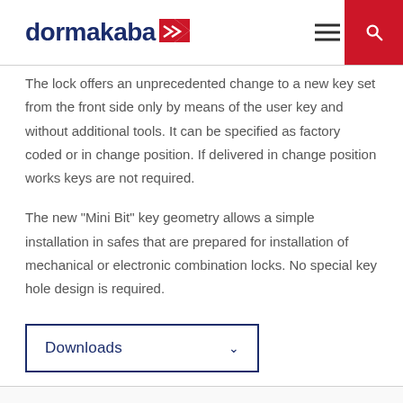dormakaba
The lock offers an unprecedented change to a new key set from the front side only by means of the user key and without additional tools. It can be specified as factory coded or in change position. If delivered in change position works keys are not required.
The new "Mini Bit" key geometry allows a simple installation in safes that are prepared for installation of mechanical or electronic combination locks. No special key hole design is required.
Downloads